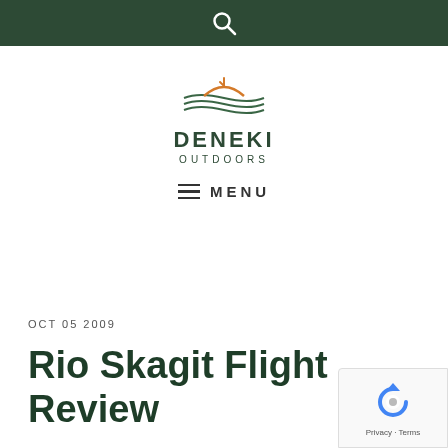Search
[Figure (logo): Deneki Outdoors logo with stylized waves and fish arcs in green and orange above the text DENEKI OUTDOORS]
≡ MENU
OCT 05 2009
Rio Skagit Flight Review